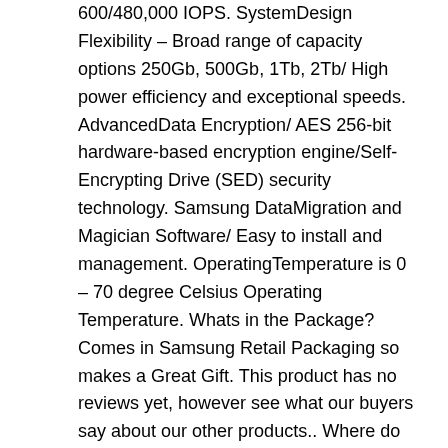600/480,000 IOPS. SystemDesign Flexibility – Broad range of capacity options 250Gb, 500Gb, 1Tb, 2Tb/ High power efficiency and exceptional speeds. AdvancedData Encryption/ AES 256-bit hardware-based encryption engine/Self-Encrypting Drive (SED) security technology. Samsung DataMigration and Magician Software/ Easy to install and management. OperatingTemperature is 0 – 70 degree Celsius Operating Temperature. Whats in the Package? Comes in Samsung Retail Packaging so makes a Great Gift. This product has no reviews yet, however see what our buyers say about our other products.. Where do we deliver? We can deliver to anywhere in the World! We pride ourselves in delivering your item from the United Kingdom to as far as Australia in as little as 3 days depending on the service selected. Please Note that this excludes software, mapping and Hygiene products as these can only be exchanged if faulty. The Sustuu Store is a consumer electronics retail website dedicated to top brand-name manufacturers and specializes in the categories of GPS, home/office phones, personal care,